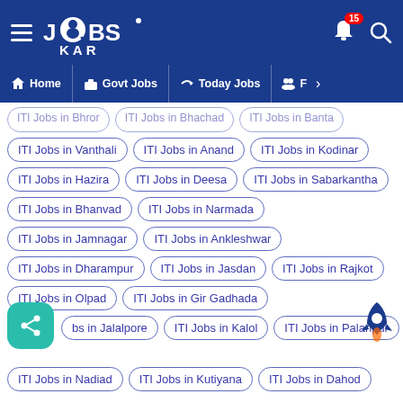JOBS KAR - Home | Govt Jobs | Today Jobs | F
ITI Jobs in Bhror
ITI Jobs in Bhachad
ITI Jobs in Banta
ITI Jobs in Vanthali
ITI Jobs in Anand
ITI Jobs in Kodinar
ITI Jobs in Hazira
ITI Jobs in Deesa
ITI Jobs in Sabarkantha
ITI Jobs in Bhanvad
ITI Jobs in Narmada
ITI Jobs in Jamnagar
ITI Jobs in Ankleshwar
ITI Jobs in Dharampur
ITI Jobs in Jasdan
ITI Jobs in Rajkot
ITI Jobs in Olpad
ITI Jobs in Gir Gadhada
ITI Jobs in Jalalpore
ITI Jobs in Kalol
ITI Jobs in Palanpur
ITI Jobs in Nadiad
ITI Jobs in Kutiyana
ITI Jobs in Dahod